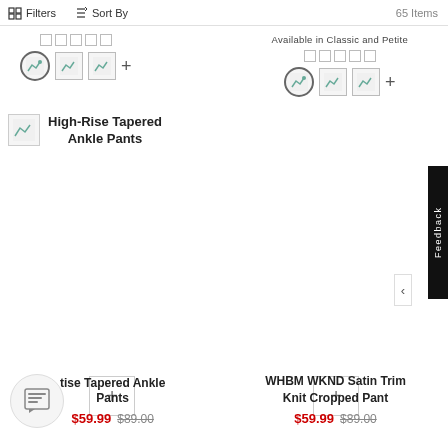Filters   Sort By   65 Items
[Figure (screenshot): Color swatch selectors for a product on the left side — three image placeholders with circle-selected first swatch plus a '+' more indicator]
Available in Classic and Petite
[Figure (screenshot): Color swatch selectors for right product — three image placeholders with circle-selected first swatch plus a '+' more indicator]
[Figure (screenshot): Thumbnail image placeholder for High-Rise Tapered Ankle Pants product]
High-Rise Tapered Ankle Pants
[Figure (screenshot): Plus (+) button for adding item to cart for left bottom product]
[Figure (screenshot): Plus (+) button for adding item to cart for right bottom product]
tise Tapered Ankle Pants
$59.99  $89.00
WHBM WKND Satin Trim Knit Cropped Pant
$59.99  $89.00